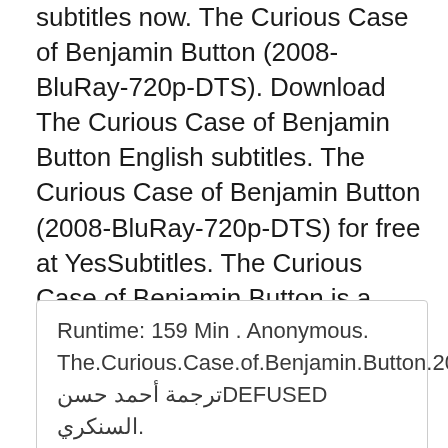subtitles now. The Curious Case of Benjamin Button (2008-BluRay-720p-DTS). Download The Curious Case of Benjamin Button English subtitles. The Curious Case of Benjamin Button (2008-BluRay-720p-DTS) for free at YesSubtitles. The Curious Case of Benjamin Button is a movie starring Cate Blanchett, Brad Pitt, Julia Ormond, Faune Chambers Watkins. On the day that Hurricane Katrina hits New Orleans, elderly Daisy Williams (nee Fuller) is on her deathbed in a New Orleans hospital. At her side is her adult daughter, Caroline.
Runtime: 159 Min . Anonymous. The.Curious.Case.of.Benjamin.Button.2008.1080p.BluRay.x264- DEFUSED ترجمة أحمد حسن السنكري.